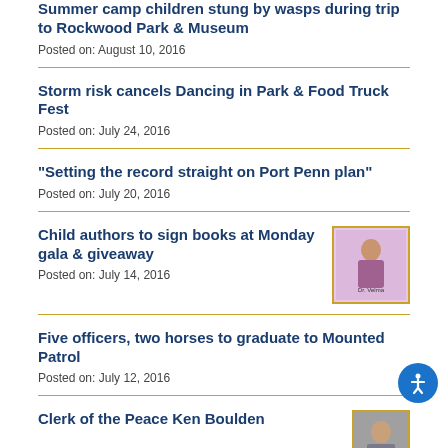Summer camp children stung by wasps during trip to Rockwood Park & Museum
Posted on: August 10, 2016
Storm risk cancels Dancing in Park & Food Truck Fest
Posted on: July 24, 2016
"Setting the record straight on Port Penn plan"
Posted on: July 20, 2016
Child authors to sign books at Monday gala & giveaway
Posted on: July 14, 2016
[Figure (illustration): Book cover featuring Dr. Velma, a figure of a woman on a pink/purple background]
Five officers, two horses to graduate to Mounted Patrol
Posted on: July 12, 2016
Clerk of the Peace Ken Boulden